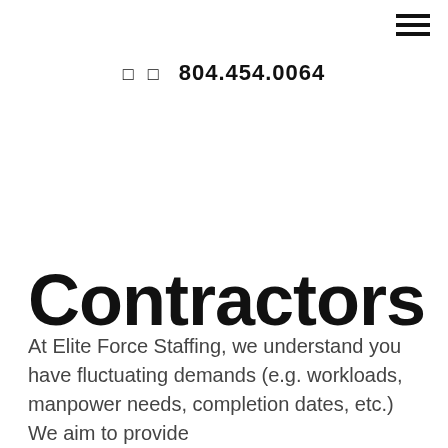☰ (hamburger menu icon)
□  □  804.454.0064
Contractors
At Elite Force Staffing, we understand you have fluctuating demands (e.g. workloads, manpower needs, completion dates, etc.) We aim to provide